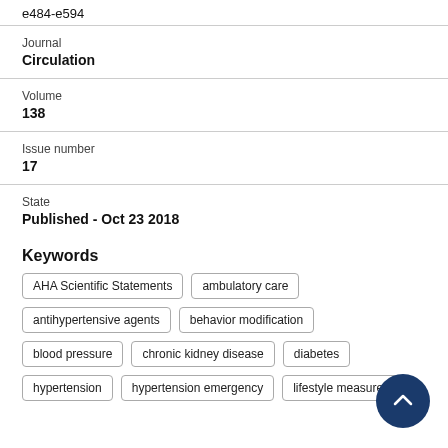e484-e594
Journal
Circulation
Volume
138
Issue number
17
State
Published - Oct 23 2018
Keywords
AHA Scientific Statements
ambulatory care
antihypertensive agents
behavior modification
blood pressure
chronic kidney disease
diabetes
hypertension
hypertension emergency
lifestyle measures